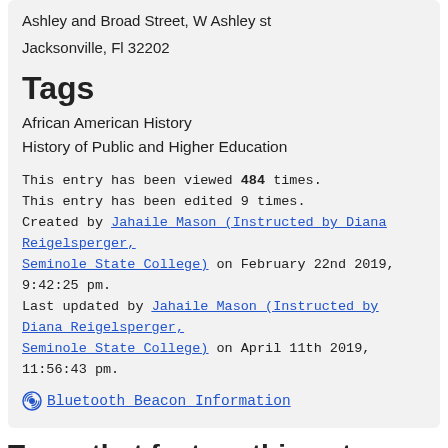Ashley and Broad Street, W Ashley st
Jacksonville, Fl 32202
Tags
African American History
History of Public and Higher Education
This entry has been viewed 484 times.
This entry has been edited 9 times.
Created by Jahaile Mason (Instructed by Diana Reigelsperger, Seminole State College) on February 22nd 2019, 9:42:25 pm.
Last updated by Jahaile Mason (Instructed by Diana Reigelsperger, Seminole State College) on April 11th 2019, 11:56:43 pm.
Bluetooth Beacon Information
Tours that feature this entry
Short Historic Jacksonville Driving Tour
On this short driving tour, see a variety of monuments, ...